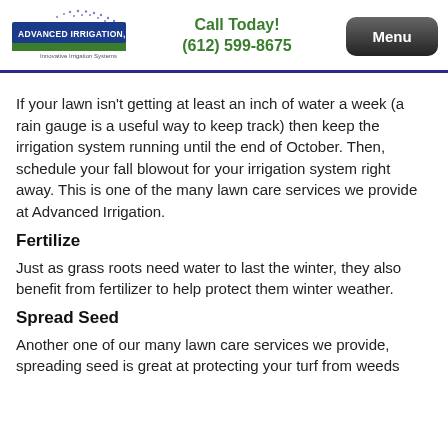Call Today! (612) 599-8675 | Menu
If your lawn isn't getting at least an inch of water a week (a rain gauge is a useful way to keep track) then keep the irrigation system running until the end of October. Then, schedule your fall blowout for your irrigation system right away. This is one of the many lawn care services we provide at Advanced Irrigation.
Fertilize
Just as grass roots need water to last the winter, they also benefit from fertilizer to help protect them winter weather.
Spread Seed
Another one of our many lawn care services we provide, spreading seed is great at protecting your turf from weeds